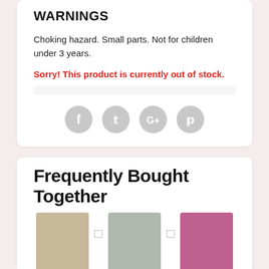WARNINGS
Choking hazard. Small parts. Not for children under 3 years.
Sorry! This product is currently out of stock.
[Figure (other): Social sharing icons: Facebook, Twitter, Google+, Pinterest — gray circular buttons]
Frequently Bought Together
[Figure (photo): Three product images in a row with plus signs between them — hair accessory products]